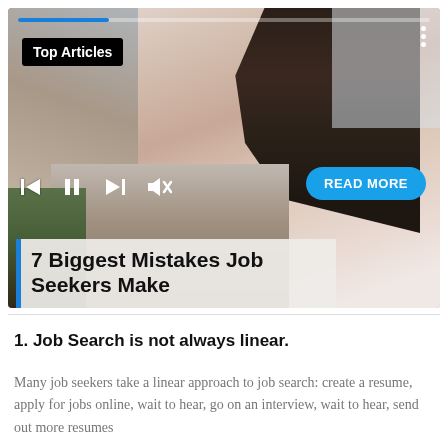[Figure (photo): A stressed woman holding her head with one hand and a document in the other, sitting in front of a laptop. A plant is visible in the bottom left. The image is overlaid with a media player interface including a progress bar, playback controls (skip back, pause, skip forward, mute), and a blue 'READ MORE' button. A 'Top Articles' badge is shown in black. The article title '7 Biggest Mistakes Job Seekers Make' appears in a semi-transparent overlay at the bottom left.]
1. Job Search is not always linear.
Many job seekers take a linear approach to job search: create a resume, apply for jobs online, wait to hear, go on an interview, wait to hear, send out more resumes